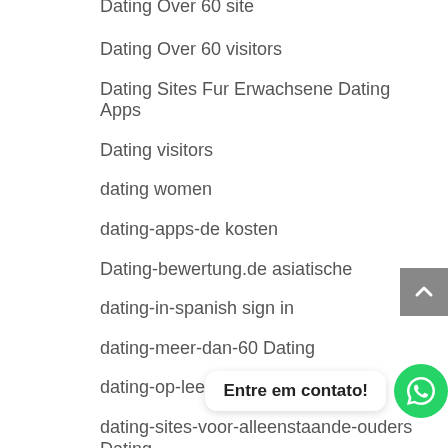Dating Over 60 site
Dating Over 60 visitors
Dating Sites Fur Erwachsene Dating Apps
Dating visitors
dating women
dating-apps-de kosten
Dating-bewertung.de asiatische
dating-in-spanish sign in
dating-meer-dan-60 Dating
dating-op-leeftijdssites Review
dating-sites-voor-alleenstaande-ouders Dating
dating.com hookup site
dating.com sign in
Entre em contato!